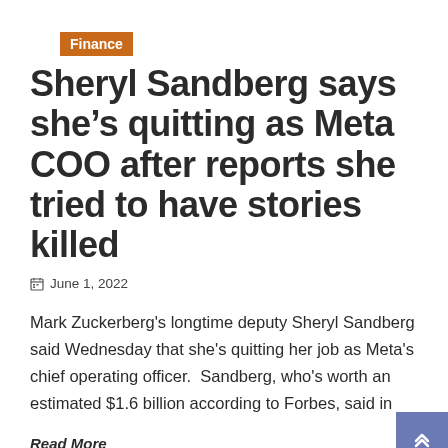Finance
Sheryl Sandberg says she's quitting as Meta COO after reports she tried to have stories killed
June 1, 2022
Mark Zuckerberg's longtime deputy Sheryl Sandberg said Wednesday that she's quitting her job as Meta's chief operating officer.  Sandberg, who's worth an estimated $1.6 billion according to Forbes, said in
Read More